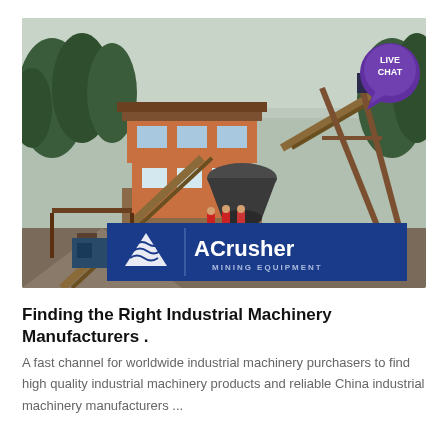[Figure (photo): Mining/crushing facility with large multi-story structure, conveyor belts, workers in red jackets, surrounded by forested hillside. ACrusher Mining Equipment logo overlaid at bottom center of photo.]
Finding the Right Industrial Machinery Manufacturers .
A fast channel for worldwide industrial machinery purchasers to find high quality industrial machinery products and reliable China industrial machinery manufacturers ...